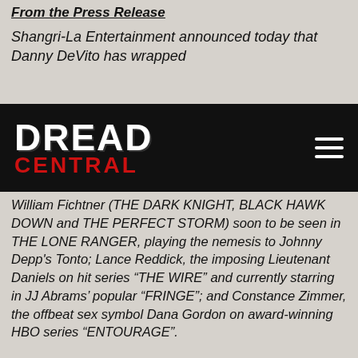From the Press Release
Shangri-La Entertainment announced today that Danny DeVito has wrapped
[Figure (logo): Dread Central logo — white bold text 'DREAD' with red bold text 'CENTRAL' on black navigation bar background, with hamburger menu icon on right]
William Fichtner (THE DARK KNIGHT, BLACK HAWK DOWN and THE PERFECT STORM) soon to be seen in THE LONE RANGER, playing the nemesis to Johnny Depp's Tonto; Lance Reddick, the imposing Lieutenant Daniels on hit series “THE WIRE” and currently starring in JJ Abrams’ popular “FRINGE”; and Constance Zimmer, the offbeat sex symbol Dana Gordon on award-winning HBO series “ENTOURAGE”.